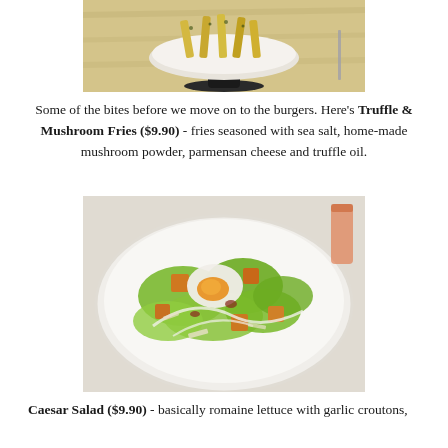[Figure (photo): Photo of Truffle & Mushroom Fries in a white bowl on a dark stand, on a wooden table]
Some of the bites before we move on to the burgers. Here's Truffle & Mushroom Fries ($9.90) - fries seasoned with sea salt, home-made mushroom powder, parmensan cheese and truffle oil.
[Figure (photo): Photo of Caesar Salad on a white plate with romaine lettuce, garlic croutons, and a poached egg]
Caesar Salad ($9.90) - basically romaine lettuce with garlic croutons,